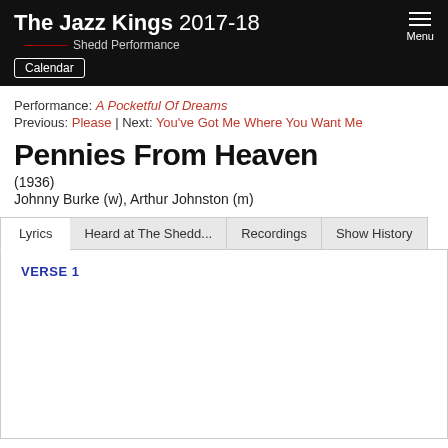The Jazz Kings 2017-18 Shedd Performance
Performance: A Pocketful Of Dreams
Previous: Please | Next: You've Got Me Where You Want Me
Pennies From Heaven
(1936)
Johnny Burke (w), Arthur Johnston (m)
Lyrics | Heard at The Shedd... | Recordings | Show History
VERSE 1